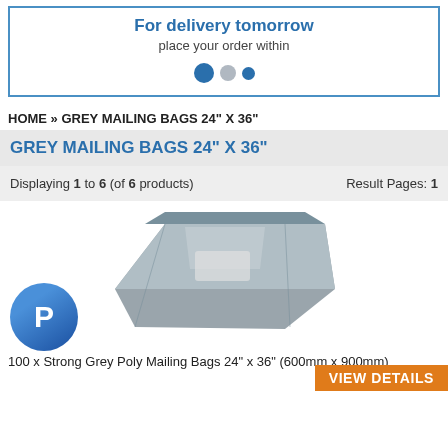For delivery tomorrow
place your order within
[Figure (illustration): Three dots pagination indicator: one large filled blue dot, one medium gray dot, one small blue dot]
HOME » GREY MAILING BAGS 24" X 36"
GREY MAILING BAGS 24" X 36"
Displaying 1 to 6 (of 6 products)    Result Pages:  1
[Figure (photo): Grey poly mailing bag 24" x 36" (600mm x 900mm) shown folded/sealed, with PayPal logo circle on lower left]
100 x Strong Grey Poly Mailing Bags 24" x 36" (600mm x 900mm)
VIEW DETAILS